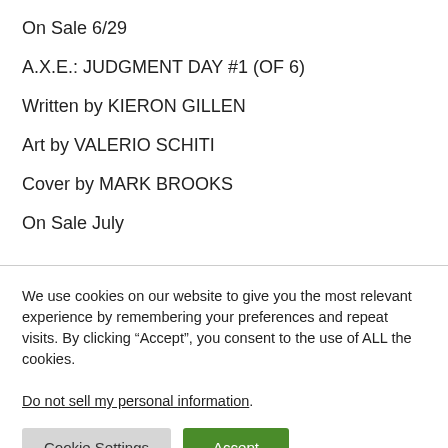On Sale 6/29
A.X.E.: JUDGMENT DAY #1 (OF 6)
Written by KIERON GILLEN
Art by VALERIO SCHITI
Cover by MARK BROOKS
On Sale July
We use cookies on our website to give you the most relevant experience by remembering your preferences and repeat visits. By clicking “Accept”, you consent to the use of ALL the cookies.
Do not sell my personal information.